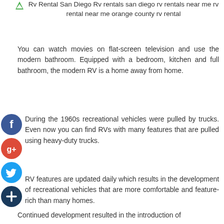Rv Rental San Diego Rv rentals san diego rv rentals near me rv rental near me orange county rv rental
You can watch movies on flat-screen television and use the modern bathroom. Equipped with a bedroom, kitchen and full bathroom, the modern RV is a home away from home.
[Figure (illustration): Social media icons: Facebook (blue circle with f), Google+ (red circle with g+), Twitter (blue circle with bird), Share/Add (dark blue circle with +)]
During the 1960s recreational vehicles were pulled by trucks. Even now you can find RVs with many features that are pulled using heavy-duty trucks.
RV features are updated daily which results in the development of recreational vehicles that are more comfortable and feature-rich than many homes.
Continued development resulted in the introduction of